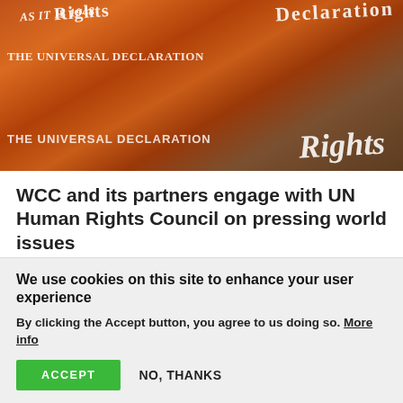[Figure (photo): Photograph of Universal Declaration of Human Rights documents with orange/brown tones, showing text 'THE UNIVERSAL DECLARATION of Rights' visible on the covers.]
WCC and its partners engage with UN Human Rights Council on pressing world issues
The World Council of Churches (WCC) and its partner organizations were deeply engaged with the 46th session of the UN Human Rights Council, held 22 February through 23 March. For the first time, the Human Rights Council was held almost entirely in a virtual format.
We use cookies on this site to enhance your user experience
By clicking the Accept button, you agree to us doing so. More info
ACCEPT   NO, THANKS